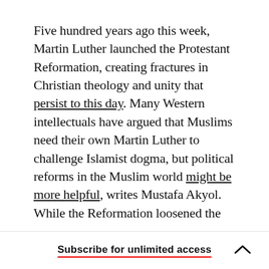Five hundred years ago this week, Martin Luther launched the Protestant Reformation, creating fractures in Christian theology and unity that persist to this day. Many Western intellectuals have argued that Muslims need their own Martin Luther to challenge Islamist dogma, but political reforms in the Muslim world might be more helpful, writes Mustafa Akyol. While the Reformation loosened the Catholic Church's monopoly over Western Christianity, Islam doesn't have a central religious authority to challenge. Meanwhile, in Iceland, the followers of an Icelandic neo-religion known as...
Subscribe for unlimited access